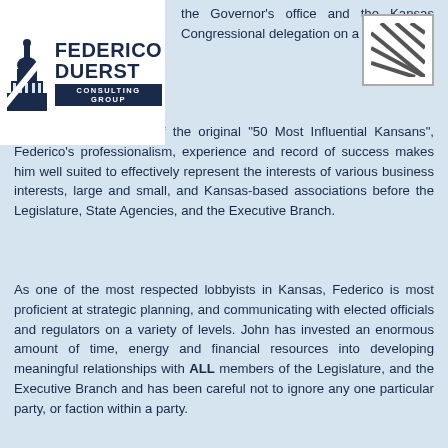[Figure (logo): Federico Duerst Consulting Group logo with Capitol building icon]
the Governor's office and the Kansas Congressional delegation on a daily basis.
am Magazine as one of the original "50 Most Influential Kansans", Federico's professionalism, experience and record of success makes him well suited to effectively represent the interests of various business interests, large and small, and Kansas-based associations before the Legislature, State Agencies, and the Executive Branch.
As one of the most respected lobbyists in Kansas, Federico is most proficient at strategic planning, and communicating with elected officials and regulators on a variety of levels. John has invested an enormous amount of time, energy and financial resources into developing meaningful relationships with ALL members of the Legislature, and the Executive Branch and has been careful not to ignore any one particular party, or faction within a party.
A native of Rhode Island, John attended Flagler College in St. Augustine, FL, and earned his undergraduate degree from the University of Rhode Island, and his law degree from the Washburn University School of Law. He lives in Topeka with his wife of 29 years along with their 3 children.